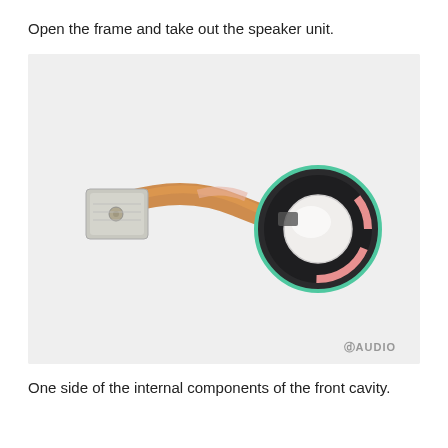Open the frame and take out the speaker unit.
[Figure (photo): A small speaker unit (driver) with a circular speaker element attached to a flexible PCB/ribbon cable with a small rectangular connector pad. The circular speaker has a white dome, dark housing, and a teal/green ring. The flexible cable is orange/copper-colored. Photo on a white background with '3D AUDIO' watermark in bottom right.]
One side of the internal components of the front cavity.